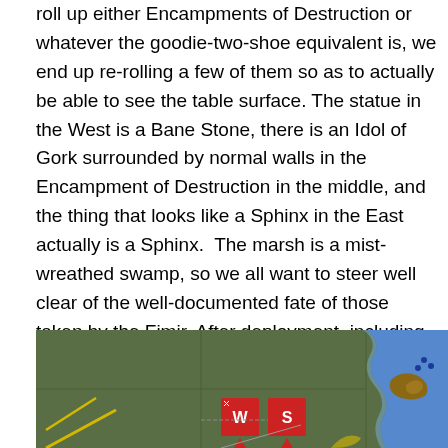roll up either Encampments of Destruction or whatever the goodie-two-shoe equivalent is, we end up re-rolling a few of them so as to actually be able to see the table surface. The statue in the West is a Bane Stone, there is an Idol of Gork surrounded by normal walls in the Encampment of Destruction in the middle, and the thing that looks like a Sphinx in the East actually is a Sphinx.  The marsh is a mist-wreathed swamp, so we all want to steer well clear of the well-documented fate of those taken by the Fimir. After deployment, including the scouting Harpies and the vanguard moves from the Pistoliers, the table looked rather like this.
[Figure (screenshot): A tabletop wargame battlefield photo/screenshot showing a green game table with unit markers. Visible markers include red squares labeled W, S, and RK. The right side shows a blue river/water feature with brown terrain along its banks.]